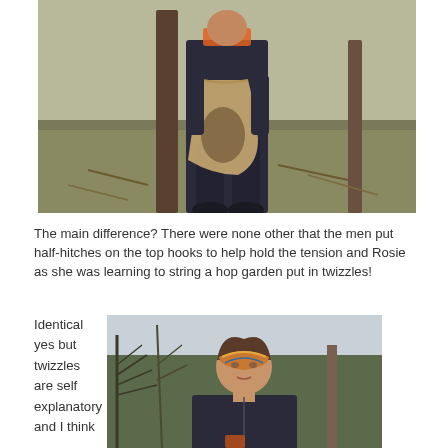[Figure (photo): Person in dark overalls and work boots standing in a field/orchard with wooden posts, holding open a large burlap/canvas sack. Bare ground and dead grass visible.]
The main difference? There were none other that the men put half-hitches on the top hooks to help hold the tension and Rosie as she was learning to string a hop garden put in twizzles!
Identical yes but twizzles are self explanatory and I think
[Figure (photo): Woman with a patterned headband outdoors, with bare trees/hedges in the background and cloudy sky. Wearing a dark jacket.]